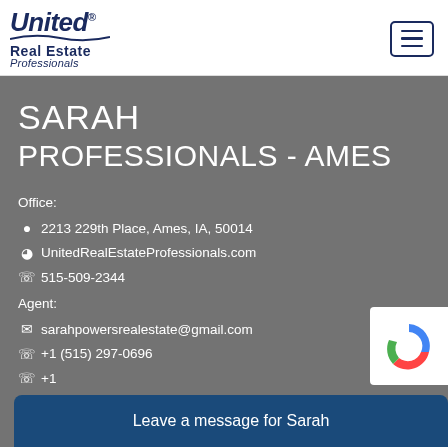[Figure (logo): United Real Estate Professionals logo with wavy underline]
[Figure (other): Hamburger menu button icon (three horizontal lines in a bordered box)]
SARAH
PROFESSIONALS - AMES
Office:
📍 2213 229th Place, Ames, IA, 50014
🌐 UnitedRealEstateProfessionals.com
📞 515-509-2344
Agent:
✉ sarahpowersrealestate@gmail.com
📞 +1 (515) 297-0696
📞 +1
Leave a message for Sarah